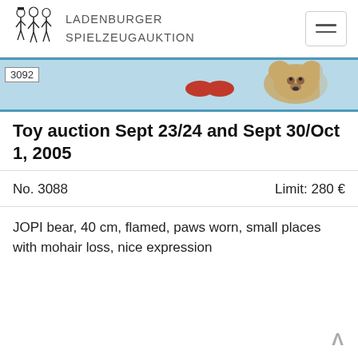LADENBURGER SPIELZEUGAUKTION
[Figure (photo): Auction item image strip showing lot number 3092 with toy items including what appear to be red shoes and a teddy bear on a light blue background]
Toy auction Sept 23/24 and Sept 30/Oct 1, 2005
No. 3088	Limit: 280 €
JOPI bear, 40 cm, flamed, paws worn, small places with mohair loss, nice expression